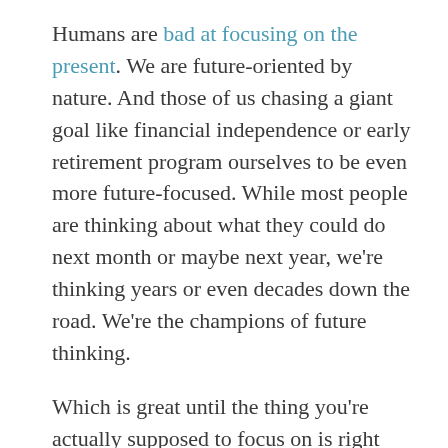Humans are bad at focusing on the present. We are future-oriented by nature. And those of us chasing a giant goal like financial independence or early retirement program ourselves to be even more future-focused. While most people are thinking about what they could do next month or maybe next year, we're thinking years or even decades down the road. We're the champions of future thinking.
Which is great until the thing you're actually supposed to focus on is right here, only days away instead of years. When the future you've been planning for is suddenly right in front of your face.
When everything is in the future, nothing is real. Tomorrow never actually arrives, after all, as